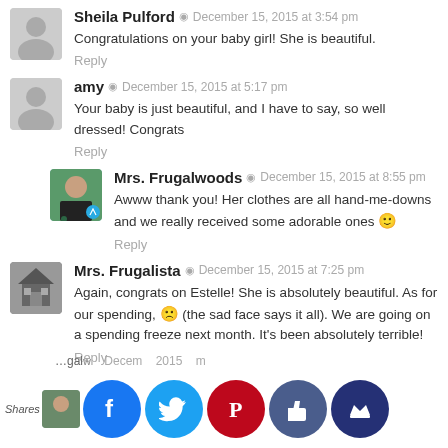Sheila Pulford · December 15, 2015 at 3:54 pm
Congratulations on your baby girl! She is beautiful.
Reply
amy · December 15, 2015 at 5:17 pm
Your baby is just beautiful, and I have to say, so well dressed! Congrats
Reply
Mrs. Frugalwoods · December 15, 2015 at 8:55 pm
Awww thank you! Her clothes are all hand-me-downs and we really received some adorable ones 🙂
Reply
Mrs. Frugalista · December 15, 2015 at 7:25 pm
Again, congrats on Estelle! She is absolutely beautiful. As for our spending, 🙁 (the sad face says it all). We are going on a spending freeze next month. It's been absolutely terrible!
Reply
[Figure (screenshot): Social sharing bar with Facebook, Twitter, Pinterest, Like, and crown icons. Also shows 'Shares' label and partial avatar and comment.]